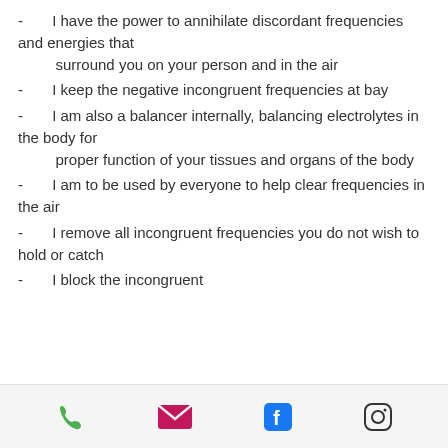-       I have the power to annihilate discordant frequencies and energies that
        surround you on your person and in the air
-       I keep the negative incongruent frequencies at bay
-       I am also a balancer internally, balancing electrolytes in the body for
        proper function of your tissues and organs of the body
-       I am to be used by everyone to help clear frequencies in the air
-       I remove all incongruent frequencies you do not wish to hold or catch
-       I block the incongruent
phone | email | facebook | instagram